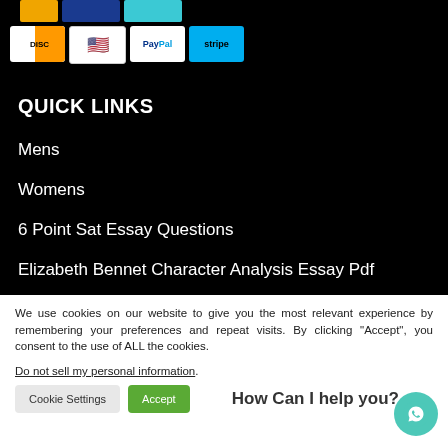[Figure (screenshot): Payment icons row: partial gold icon, partial dark blue icon, partial cyan icon at top, then Discover, US flag, PayPal, Stripe icons below]
QUICK LINKS
Mens
Womens
6 Point Sat Essay Questions
Elizabeth Bennet Character Analysis Essay Pdf
We use cookies on our website to give you the most relevant experience by remembering your preferences and repeat visits. By clicking “Accept”, you consent to the use of ALL the cookies.
Do not sell my personal information.
Cookie Settings | Accept | How Can I help you?